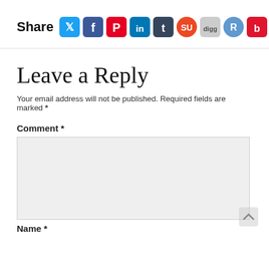[Figure (infographic): Share button row with social media icons: Twitter, Facebook, Pinterest, LinkedIn, Tumblr, StumbleUpon, Digg, Reddit, Bebo, Delicious, VK, Email]
Leave a Reply
Your email address will not be published. Required fields are marked *
Comment *
Name *